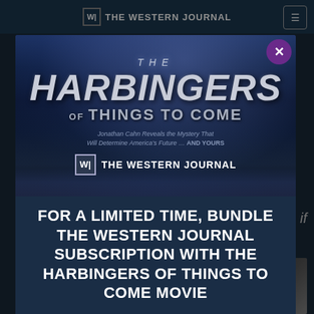THE WESTERN JOURNAL
[Figure (screenshot): Modal popup advertisement on The Western Journal website. Shows a movie poster for 'The Harbingers of Things to Come' with dark stormy background, The Western Journal logo, and promotional text for a limited time bundle subscription offer.]
FOR A LIMITED TIME, BUNDLE THE WESTERN JOURNAL SUBSCRIPTION WITH THE HARBINGERS OF THINGS TO COME MOVIE